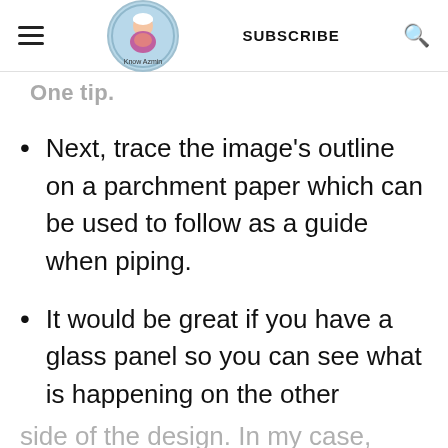Know Azmin | SUBSCRIBE
One tip.
Next, trace the image's outline on a parchment paper which can be used to follow as a guide when piping.
It would be great if you have a glass panel so you can see what is happening on the other side of the design. In my case,